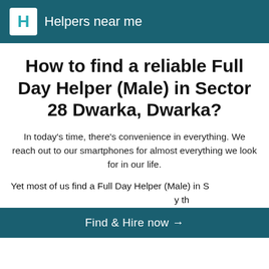Helpers near me
How to find a reliable Full Day Helper (Male) in Sector 28 Dwarka, Dwarka?
In today's time, there's convenience in everything. We reach out to our smartphones for almost everything we look for in our life.
Yet most of us find a Full Day Helper (Male) in Sector 28 Dwarka, Dwarka in a very traditional way. It is very inconvenient to find a Full Day Helper (Male) when you need one.
Find & Hire now →